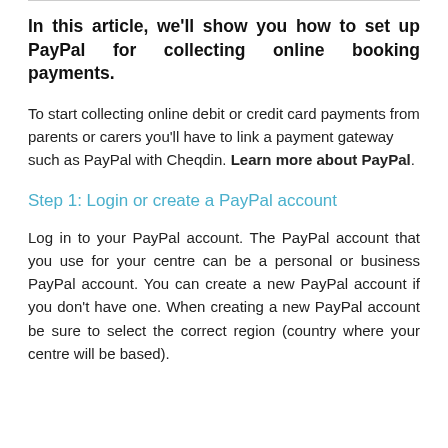In this article, we'll show you how to set up PayPal for collecting online booking payments.
To start collecting online debit or credit card payments from parents or carers you'll have to link a payment gateway such as PayPal with Cheqdin. Learn more about PayPal.
Step 1: Login or create a PayPal account
Log in to your PayPal account. The PayPal account that you use for your centre can be a personal or business PayPal account. You can create a new PayPal account if you don't have one. When creating a new PayPal account be sure to select the correct region (country where your centre will be based).